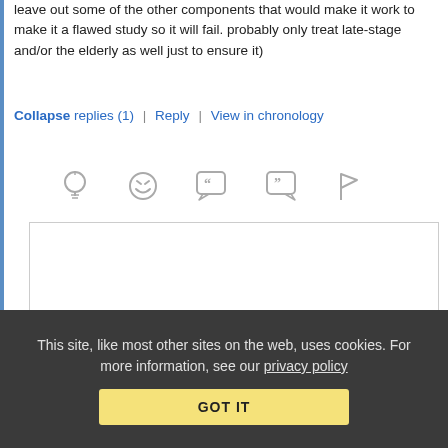leave out some of the other components that would make it work to make it a flawed study so it will fail. probably only treat late-stage and/or the elderly as well just to ensure it)
Collapse replies (1) | Reply | View in chronology
[Figure (infographic): Row of 5 icon buttons: lightbulb, laughing emoji, open-quote speech bubble, close-quote speech bubble, flag]
[Figure (infographic): Reply thread icon with [4] count indicator]
PaulT (profile) May 29, 2020 at 11:17 pm
Re: Re: Re: Hydroxychloroquine
This site, like most other sites on the web, uses cookies. For more information, see our privacy policy
GOT IT